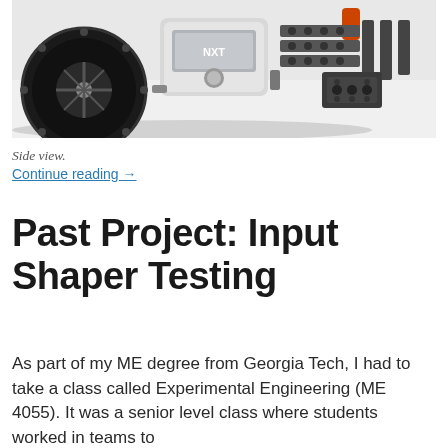[Figure (photo): Side view of a LEGO Mindstorms robot showing a large black wheel on the left, a white NXT brick in the center, and gray Technic beams/mechanisms on the right, photographed against a white background.]
Side view.
Continue reading →
Past Project: Input Shaper Testing
As part of my ME degree from Georgia Tech, I had to take a class called Experimental Engineering (ME 4055). It was a senior level class where students worked in teams to